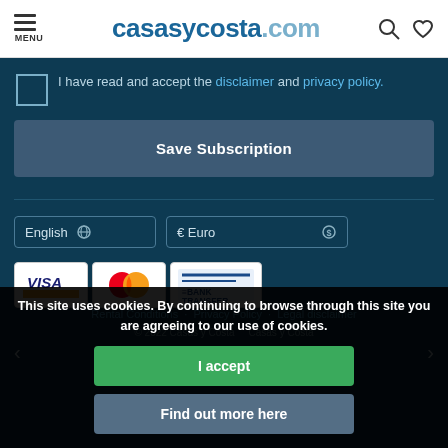MENU casasycosta.com
I have read and accept the disclaimer and privacy policy.
Save Subscription
English  € Euro
[Figure (logo): Payment method logos: VISA, Mastercard, Bank Transfer]
Rental Conditions  Privacy Policy  Legal disclaimer
© 2022 Casas y Costa  Casas y Costa
Online Book  rentnet
This site uses cookies. By continuing to browse through this site you are agreeing to our use of cookies.
I accept
Find out more here